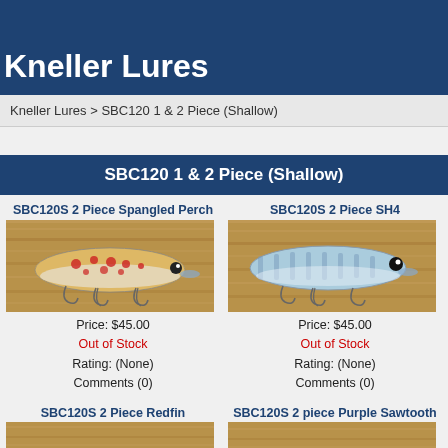Kneller Lures
Kneller Lures > SBC120 1 & 2 Piece (Shallow)
SBC120 1 & 2 Piece (Shallow)
SBC120S 2 Piece Spangled Perch
[Figure (photo): Photo of SBC120S 2 Piece Spangled Perch fishing lure - orange/gold with red spots, silver body with treble hooks]
Price: $45.00
Out of Stock
Rating: (None)
Comments (0)
SBC120S 2 Piece SH4
[Figure (photo): Photo of SBC120S 2 Piece SH4 fishing lure - light blue/grey striped body with treble hooks on wooden background]
Price: $45.00
Out of Stock
Rating: (None)
Comments (0)
SBC120S 2 Piece Redfin
SBC120S 2 piece Purple Sawtooth